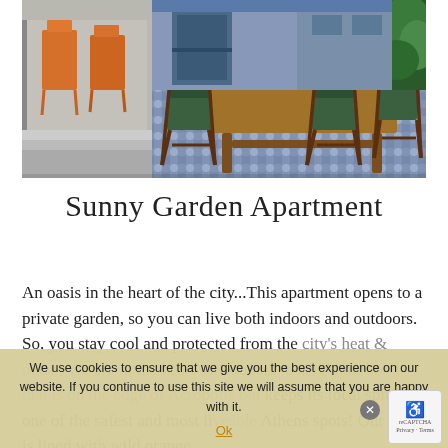[Figure (photo): Outdoor patio or garden area with wooden table and green director's chairs on a blue and white patterned tile floor. Plants visible on left and right edges.]
Sunny Garden Apartment
An oasis in the heart of the city...This apartment opens to a private garden, so you can live both indoors and outdoors. So, you stay cool and protected from the city's heat & noise! We are in the heart of Koukaki, a neighbourhood that is on the edge of Acropolis but keeps its local spirit, one of the safest and most liveable Athens spots! Our street is lined with wild orange
We use cookies to ensure that we give you the best experience on our website. If you continue to use this site we will assume that you are happy with it. Ok